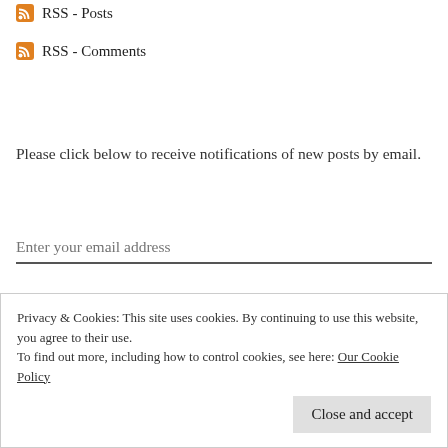RSS - Posts
RSS - Comments
Please click below to receive notifications of new posts by email.
Enter your email address
Click to follow by email,
Privacy & Cookies: This site uses cookies. By continuing to use this website, you agree to their use.
To find out more, including how to control cookies, see here: Our Cookie Policy
Close and accept